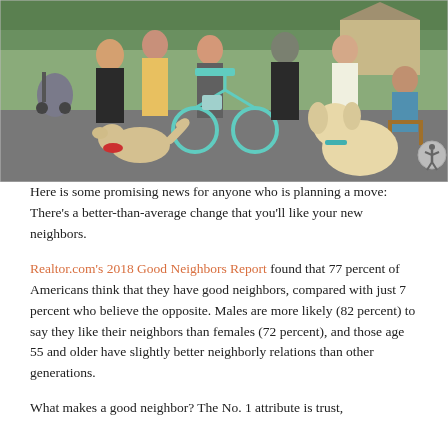[Figure (photo): A group of people and two golden/labradoodle dogs gathered outside on a street. One person has a teal bicycle with a basket. People include men and women of various ages; some sit on chairs to the right. Background shows trees and a house.]
Here is some promising news for anyone who is planning a move: There's a better-than-average change that you'll like your new neighbors.
Realtor.com's 2018 Good Neighbors Report found that 77 percent of Americans think that they have good neighbors, compared with just 7 percent who believe the opposite. Males are more likely (82 percent) to say they like their neighbors than females (72 percent), and those age 55 and older have slightly better neighborly relations than other generations.
What makes a good neighbor? The No. 1 attribute is trust,